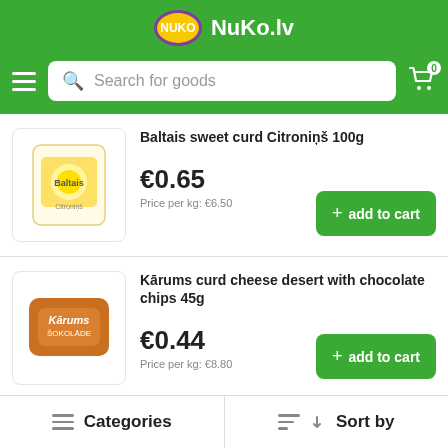NuKo.lv
[Figure (screenshot): NuKo.lv grocery shopping app showing search bar with hamburger menu and cart icon]
Baltais sweet curd Citroniņš 100g
€0.65
Price per kg: €6.50
Kārums curd cheese desert with chocolate chips 45g
€0.44
Price per kg: €8.80
Alma curd cream with chocolate chips 150g
Categories   Sort by